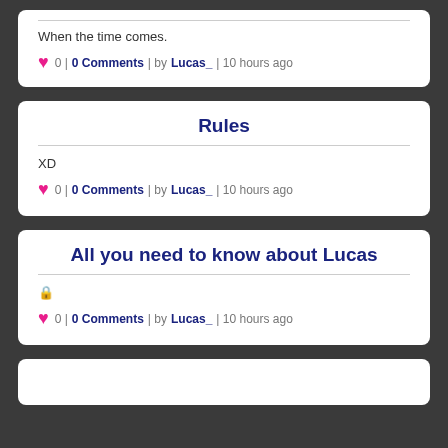When the time comes.
0 | 0 Comments | by Lucas_ | 10 hours ago
Rules
XD
0 | 0 Comments | by Lucas_ | 10 hours ago
All you need to know about Lucas
🔒
0 | 0 Comments | by Lucas_ | 10 hours ago